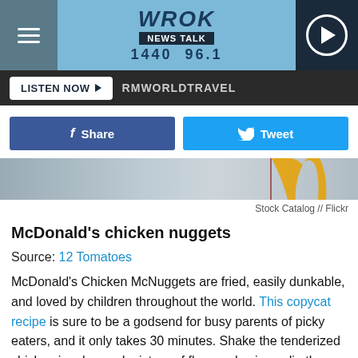WROK NEWS TALK 1440 96.1
LISTEN NOW ▶  RMWORLDTRAVEL
[Figure (screenshot): Partial image of McDonald's chicken nuggets at top of page]
Stock Catalog // Flickr
McDonald's chicken nuggets
Source: 12 Tomatoes
McDonald's Chicken McNuggets are fried, easily dunkable, and loved by children throughout the world. This copycat recipe is sure to be a godsend for busy parents of picky eaters, and it only takes 30 minutes. Shake the tenderized chicken in a bagged mixture of flour and spices, dip the battered chicken in egg, lightly fry for 10 minutes, and finish